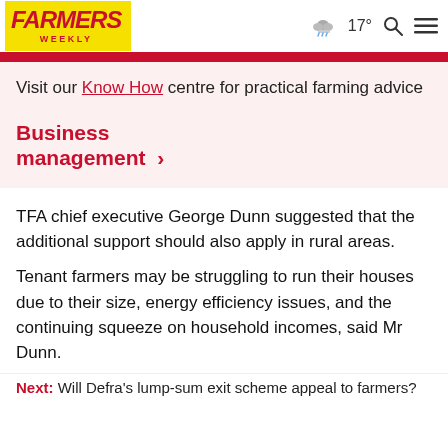Farmers Weekly — 17° weather, search, menu
Visit our Know How centre for practical farming advice
Business management >
TFA chief executive George Dunn suggested that the additional support should also apply in rural areas.
Tenant farmers may be struggling to run their houses due to their size, energy efficiency issues, and the continuing squeeze on household incomes, said Mr Dunn.
Next: Will Defra's lump-sum exit scheme appeal to farmers?